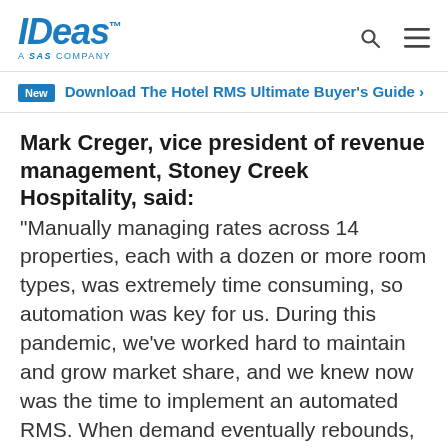IDeas™ – A SAS COMPANY
New – Download The Hotel RMS Ultimate Buyer's Guide ›
Mark Creger, vice president of revenue management, Stoney Creek Hospitality, said:
“Manually managing rates across 14 properties, each with a dozen or more room types, was extremely time consuming, so automation was key for us. During this pandemic, we’ve worked hard to maintain and grow market share, and we knew now was the time to implement an automated RMS. When demand eventually rebounds, and we knew IDeas…